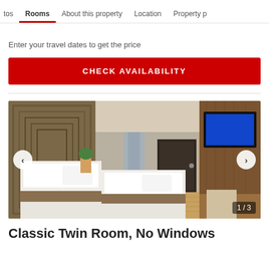tos  Rooms  About this property  Location  Property p
Enter your travel dates to get the price
CHECK AVAILABILITY
[Figure (photo): Hotel room interior showing two beds with white linens and green/brown runners, wooden headboard panels, wooden flooring, dark door at back, and a wall-mounted TV on wood paneling on the right. Image counter shows 1/3 with left and right navigation arrows.]
Classic Twin Room, No Windows